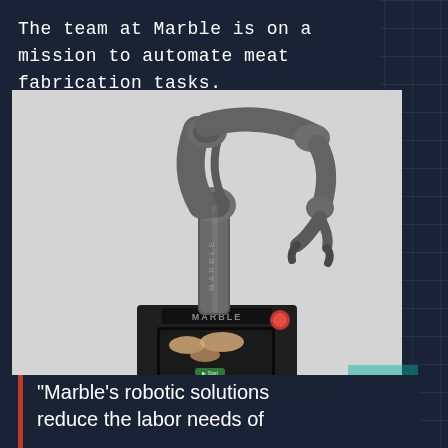The team at Marble is on a mission to automate meat fabrication tasks.
[Figure (photo): A robotic arm branded 'MARBLE' mounted on a base unit with a touchscreen display showing pieces of meat. The robotic arm is silver/metallic and multi-jointed. The base has a control panel with a red button.]
"Marble's robotic solutions reduce the labor needs of [meat fabrication operations]"